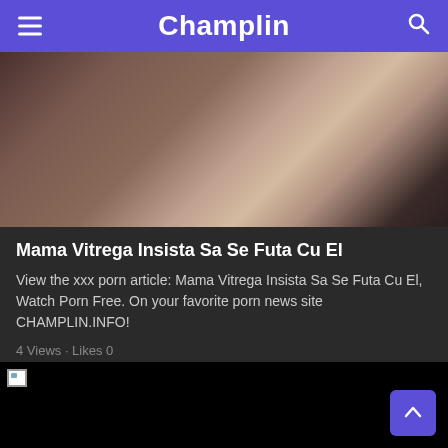Champlin
[Figure (photo): Thumbnail image for the article, partially visible, showing figures in dim lighting]
Mama Vitrega Insista Sa Se Futa Cu El
View the xxx porn article: Mama Vitrega Insista Sa Se Futa Cu El, Watch Porn Free. On your favorite porn news site CHAMPLIN.INFO!
4 Views · Likes 0
[Figure (photo): Black image area with broken image icon in top-left corner]